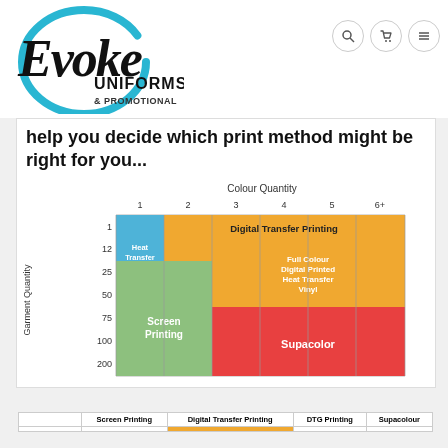[Figure (logo): Evoke Uniforms & Promotional logo — stylized cursive 'Evoke' text with blue circle brush stroke, 'UNIFORMS & PROMOTIONAL' below in bold sans-serif]
help you decide which print method might be right for you...
[Figure (infographic): Colour Quantity vs Garment Quantity matrix chart showing print methods: Digital Transfer Printing (blue+orange top), Heat Transfer Vinyl (blue), Full Colour Digital Printed Heat Transfer Vinyl (orange), Screen Printing (green), Supacolor (red). Columns 1-6+ colours, rows 1,12,25,50,75,100,200 garments.]
|  | Screen Printing | Digital Transfer Printing | DTG Printing | Supacolour |
| --- | --- | --- | --- | --- |
|  |  |  |  |  |